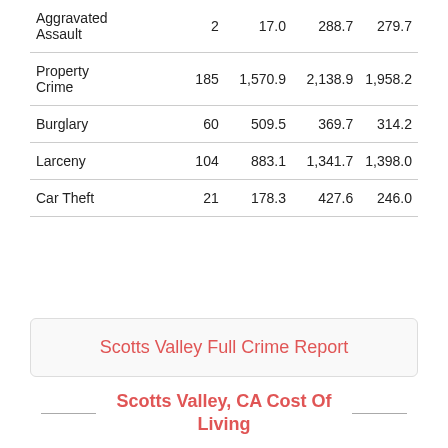|  |  |  |  |  |
| --- | --- | --- | --- | --- |
| Aggravated Assault | 2 | 17.0 | 288.7 | 279.7 |
| Property Crime | 185 | 1,570.9 | 2,138.9 | 1,958.2 |
| Burglary | 60 | 509.5 | 369.7 | 314.2 |
| Larceny | 104 | 883.1 | 1,341.7 | 1,398.0 |
| Car Theft | 21 | 178.3 | 427.6 | 246.0 |
Scotts Valley Full Crime Report
Scotts Valley, CA Cost Of Living